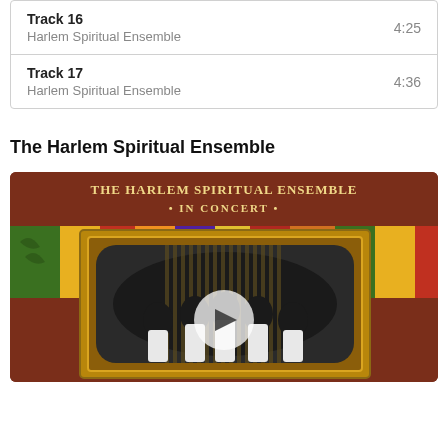Track 16 - Harlem Spiritual Ensemble - 4:25
Track 17 - Harlem Spiritual Ensemble - 4:36
The Harlem Spiritual Ensemble
[Figure (photo): Album cover for The Harlem Spiritual Ensemble In Concert, showing a brown/maroon background with golden text at top reading 'THE HARLEM SPIRITUAL ENSEMBLE • IN CONCERT •', colorful African fabric patterns behind a large ornate gold picture frame containing a group of singers in formal attire performing before a pipe organ. A circular play button overlay is centered on the image.]